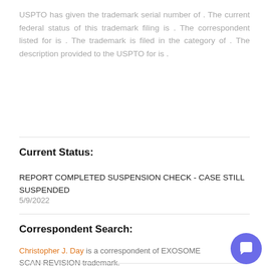USPTO has given the trademark serial number of . The current federal status of this trademark filing is . The correspondent listed for is . The trademark is filed in the category of . The description provided to the USPTO for is .
Current Status:
REPORT COMPLETED SUSPENSION CHECK - CASE STILL SUSPENDED
5/9/2022
Correspondent Search:
Christopher J. Day is a correspondent of EXOSOME SCAN REVISION trademark.